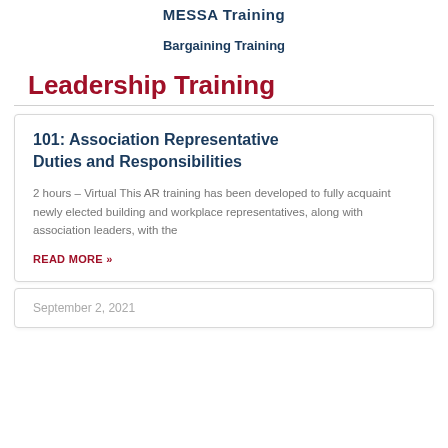MESSA Training
Bargaining Training
Leadership Training
101: Association Representative Duties and Responsibilities
2 hours – Virtual This AR training has been developed to fully acquaint newly elected building and workplace representatives, along with association leaders, with the
READ MORE »
September 2, 2021